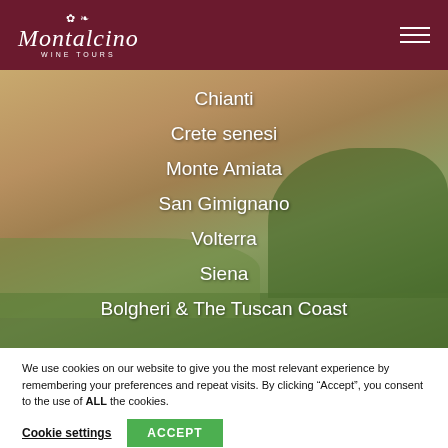Montalcino Wine Tours
Chianti
Crete senesi
Monte Amiata
San Gimignano
Volterra
Siena
Bolgheri & The Tuscan Coast
We use cookies on our website to give you the most relevant experience by remembering your preferences and repeat visits. By clicking “Accept”, you consent to the use of ALL the cookies.
Cookie settings | ACCEPT